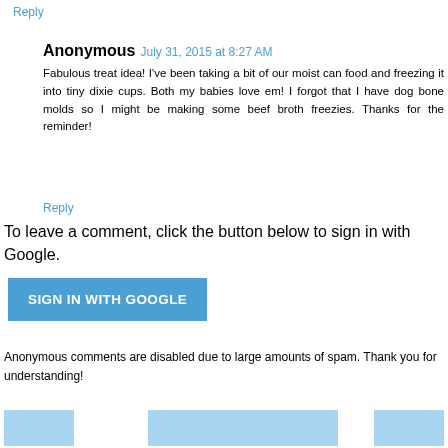Reply
Anonymous  July 31, 2015 at 8:27 AM
Fabulous treat idea! I've been taking a bit of our moist can food and freezing it into tiny dixie cups. Both my babies love em! I forgot that I have dog bone molds so I might be making some beef broth freezies. Thanks for the reminder!
Reply
To leave a comment, click the button below to sign in with Google.
[Figure (other): Blue 'SIGN IN WITH GOOGLE' button]
Anonymous comments are disabled due to large amounts of spam. Thank you for understanding!
[Figure (other): Bottom navigation buttons: small blue button left, wide blue button center, small blue button right]